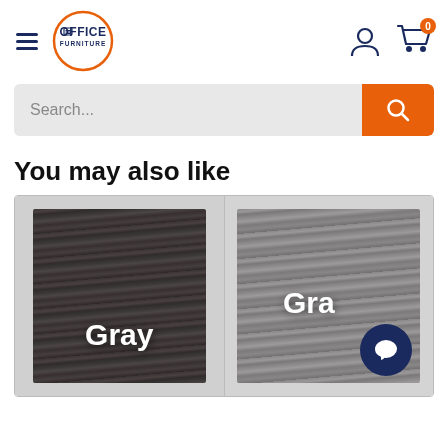[Figure (logo): Office Furniture logo — orange circle with 'Office Furniture' text inside, hamburger menu icon to its left]
[Figure (screenshot): Search bar with placeholder text 'Search...' and orange search button on the right]
You may also like
[Figure (photo): Two product cards side by side showing gray/dark wood texture color swatches labeled 'Gray'. The second card (partially visible) has a chat bubble icon overlay.]